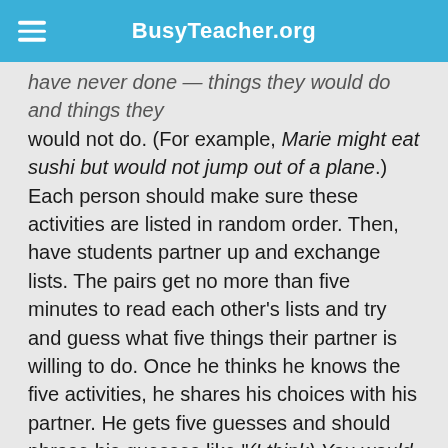BusyTeacher.org
have never done — things they would do and things they would not do. (For example, Marie might eat sushi but would not jump out of a plane.) Each person should make sure these activities are listed in random order. Then, have students partner up and exchange lists. The pairs get no more than five minutes to read each other's lists and try and guess what five things their partner is willing to do. Once he thinks he knows the five activities, he shares his choices with his partner. He gets five guesses and should phrase his guesses like "(I think) You would ___________." The other person either confirms that he would do the activity or states that he would not do it. The guesser scores one point for every guess he gets right. Then partners reverse roles. The person who guessed more activities correctly wins the round. Losers are out of the competition. The winners then partner up with